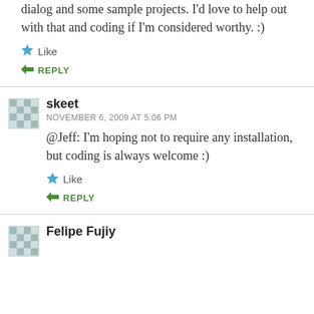dialog and some sample projects. I'd love to help out with that and coding if I'm considered worthy. :)
Like
REPLY
skeet
NOVEMBER 6, 2009 AT 5:06 PM
@Jeff: I'm hoping not to require any installation, but coding is always welcome :)
Like
REPLY
Felipe Fujiy